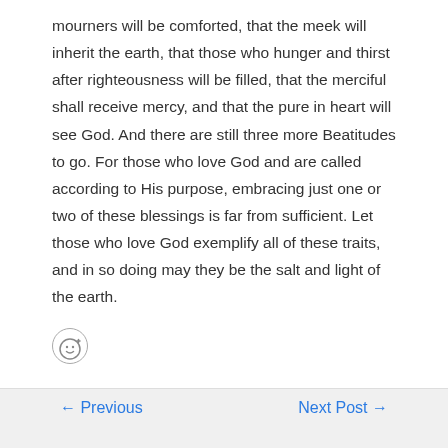mourners will be comforted, that the meek will inherit the earth, that those who hunger and thirst after righteousness will be filled, that the merciful shall receive mercy, and that the pure in heart will see God. And there are still three more Beatitudes to go. For those who love God and are called according to His purpose, embracing just one or two of these blessings is far from sufficient. Let those who love God exemplify all of these traits, and in so doing may they be the salt and light of the earth.
[Figure (other): Emoji reaction icon (smiley face with plus sign)]
← Previous Post    Next Post →